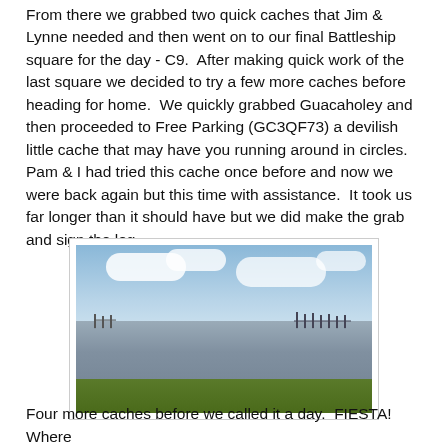From there we grabbed two quick caches that Jim & Lynne needed and then went on to our final Battleship square for the day - C9.  After making quick work of the last square we decided to try a few more caches before heading for home.  We quickly grabbed Guacaholey and then proceeded to Free Parking (GC3QF73) a devilish little cache that may have you running around in circles.  Pam & I had tried this cache once before and now we were back again but this time with assistance.  It took us far longer than it should have but we did make the grab and sign the log.
[Figure (photo): Outdoor landscape photo showing a wide open body of water or flooded field under a partly cloudy blue sky, with a low horizon featuring distant structures or fencing, and green grass in the foreground.]
Four more caches before we called it a day.  FIESTA! Where